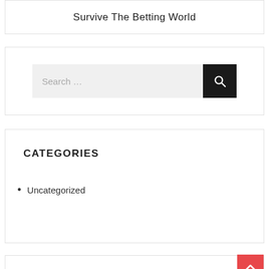Survive The Betting World
[Figure (screenshot): Search bar with dark search button]
CATEGORIES
Uncategorized
[Figure (other): Partial section with back-to-top red button and partial RECENT POSTS header]